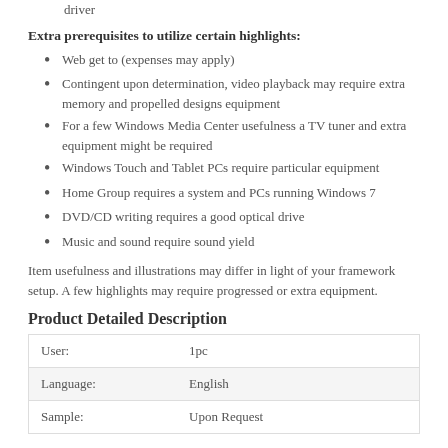driver
Extra prerequisites to utilize certain highlights:
Web get to (expenses may apply)
Contingent upon determination, video playback may require extra memory and propelled designs equipment
For a few Windows Media Center usefulness a TV tuner and extra equipment might be required
Windows Touch and Tablet PCs require particular equipment
Home Group requires a system and PCs running Windows 7
DVD/CD writing requires a good optical drive
Music and sound require sound yield
Item usefulness and illustrations may differ in light of your framework setup. A few highlights may require progressed or extra equipment.
Product Detailed Description
|  |  |
| --- | --- |
| User: | 1pc |
| Language: | English |
| Sample: | Upon Request |